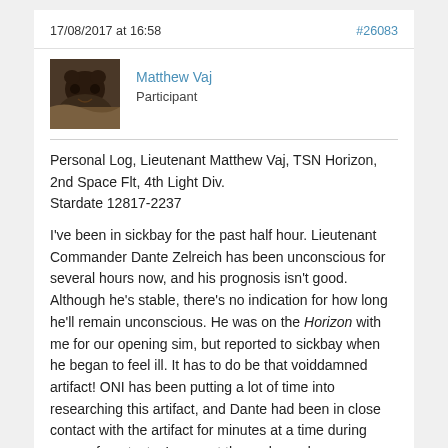17/08/2017 at 16:58    #26083
[Figure (photo): Avatar image of a dark-colored animal (possibly a black bear or bison) against a natural background]
Matthew Vaj
Participant
Personal Log, Lieutenant Matthew Vaj, TSN Horizon, 2nd Space Flt, 4th Light Div.
Stardate 12817-2237

I've been in sickbay for the past half hour. Lieutenant Commander Dante Zelreich has been unconscious for several hours now, and his prognosis isn't good. Although he's stable, there's no indication for how long he'll remain unconscious. He was on the Horizon with me for our opening sim, but reported to sickbay when he began to feel ill. It has to do be that voiddamned artifact! ONI has been putting a lot of time into researching this artifact, and Dante had been in close contact with the artifact for minutes at a time during some of our tests. I suspect the prolonged exposure had caused him to become sensitive to its effects. It only became noticeable when a